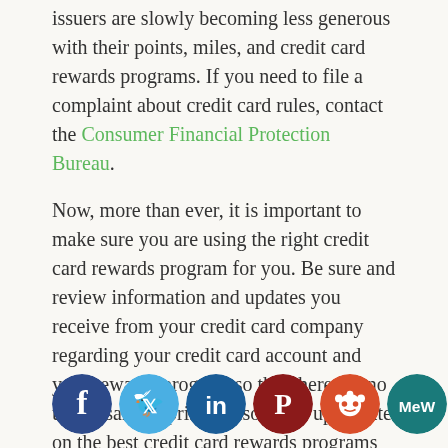issuers are slowly becoming less generous with their points, miles, and credit card rewards programs. If you need to file a complaint about credit card rules, contact the Consumer Financial Protection Bureau.
Now, more than ever, it is important to make sure you are using the right credit card rewards program for you. Be sure and review information and updates you receive from your credit card company regarding your credit card account and your rewards program so that there are no unpleasant surprises. Also, keep up to date on the best credit card rewards programs so that you know what points and rewards are out there that you could be using.
[Figure (other): Social media sharing icons row: Facebook (dark blue), Twitter (light blue), LinkedIn (dark blue), Pinterest (dark red), Reddit (orange-red), MeWe (teal), Mix (orange), WhatsApp (green), More/Plus (orange)]